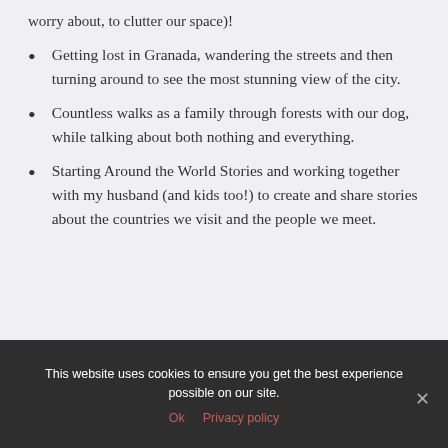worry about, to clutter our space)!
Getting lost in Granada, wandering the streets and then turning around to see the most stunning view of the city.
Countless walks as a family through forests with our dog, while talking about both nothing and everything.
Starting Around the World Stories and working together with my husband (and kids too!) to create and share stories about the countries we visit and the people we meet.
This website uses cookies to ensure you get the best experience possible on our site.
Ok   Privacy policy